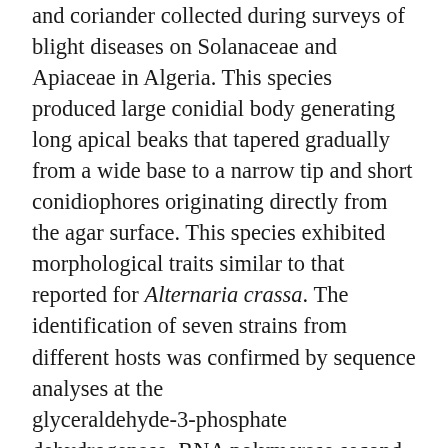and coriander collected during surveys of blight diseases on Solanaceae and Apiaceae in Algeria. This species produced large conidial body generating long apical beaks that tapered gradually from a wide base to a narrow tip and short conidiophores originating directly from the agar surface. This species exhibited morphological traits similar to that reported for Alternaria crassa. The identification of seven strains from different hosts was confirmed by sequence analyses at the glyceraldehyde-3-phosphate dehydrogenase, RNA polymerase second largest subunit, and translation elongation factor 1-alpha loci. Further the pathogen was evaluated on jimson weed, coriander, parsley, and tomato plants, and this fungus was able to cause necrotic